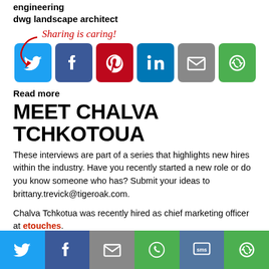engineering
dwg landscape architect
[Figure (infographic): Sharing is caring! with arrow and social media share buttons: Twitter, Facebook, Pinterest, LinkedIn, Email, Other]
Read more
MEET CHALVA TCHKOTOUA
These interviews are part of a series that highlights new hires within the industry. Have you recently started a new role or do you know someone who has? Submit your ideas to brittany.trevick@tigeroak.com.
Chalva Tchkotua was recently hired as chief marketing officer at etouches.
1. What are you looking forward to the most in your
[Figure (infographic): Bottom social share bar with Twitter, Facebook, Email, WhatsApp, SMS, and Other icons]